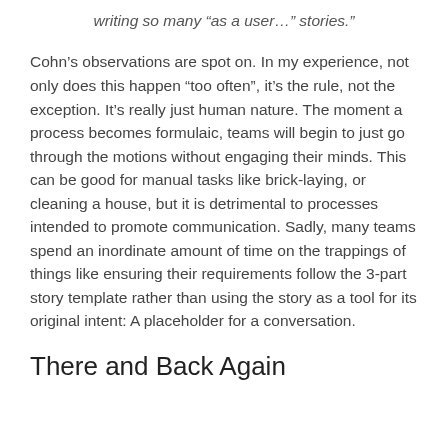writing so many “as a user…” stories.”
Cohn’s observations are spot on. In my experience, not only does this happen “too often”, it’s the rule, not the exception. It’s really just human nature. The moment a process becomes formulaic, teams will begin to just go through the motions without engaging their minds. This can be good for manual tasks like brick-laying, or cleaning a house, but it is detrimental to processes intended to promote communication. Sadly, many teams spend an inordinate amount of time on the trappings of things like ensuring their requirements follow the 3-part story template rather than using the story as a tool for its original intent: A placeholder for a conversation.
There and Back Again